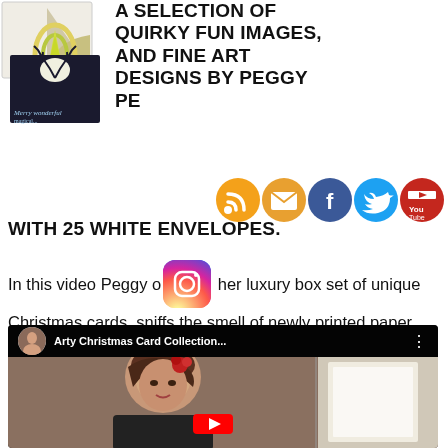[Figure (photo): Two Christmas card images stacked - one with abstract rainbow/mountain design in yellow/green, one with a deer silhouette on dark background]
A SELECTION OF QUIRKY FUN IMAGES, AND FINE ART DESIGNS BY PEGGY PERONI WITH 25 WHITE ENVELOPES.
[Figure (infographic): Social media icons row: RSS (orange), Email (orange envelope), Facebook (blue), Twitter (blue bird), YouTube (red)]
In this video Peggy opens her luxury box set of unique Christmas cards, sniffs the smell of newly printed paper, and does a surprisingly brief Christmas dance.
[Figure (screenshot): YouTube video thumbnail showing woman with brown hair wearing red flower accessory, with a white box partially visible on right. Video title bar reads 'Arty Christmas Card Collection...' with channel avatar and three-dot menu.]